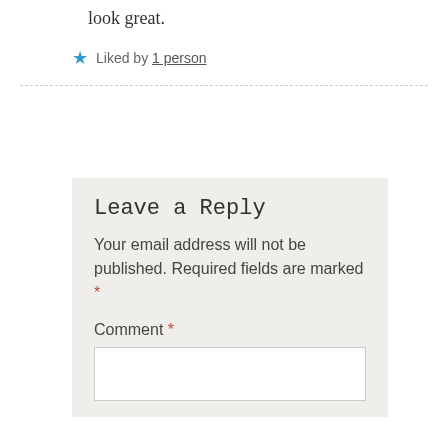look great.
★ Liked by 1 person
Leave a Reply
Your email address will not be published. Required fields are marked *
Comment *